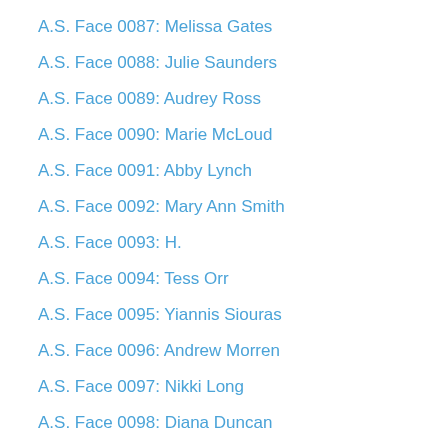A.S. Face 0087: Melissa Gates
A.S. Face 0088: Julie Saunders
A.S. Face 0089: Audrey Ross
A.S. Face 0090: Marie McLoud
A.S. Face 0091: Abby Lynch
A.S. Face 0092: Mary Ann Smith
A.S. Face 0093: H.
A.S. Face 0094: Tess Orr
A.S. Face 0095: Yiannis Siouras
A.S. Face 0096: Andrew Morren
A.S. Face 0097: Nikki Long
A.S. Face 0098: Diana Duncan
A.S. Face 0099: Phil Collins
A.S. Face 0100: John Goff
A.S. Face 0101: Tom Contrino
A.S. Face 0102: June Weatherhead
A.S. Face 0103: Jim Weatherhead
A.S. Face 0104: R.J. A Mother's Hero
A.S. Face 0105: Jen Smith
A.S. Face 0106: Crystal Benedict